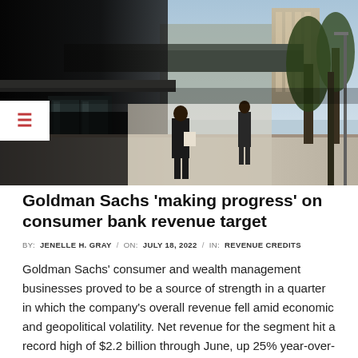[Figure (photo): Street-level photo of Goldman Sachs building entrance with pedestrians walking along a wide sidewalk, tall buildings visible in the background, trees on the right side, dark modern architecture on the left]
Goldman Sachs 'making progress' on consumer bank revenue target
BY:  JENELLE H. GRAY  /  ON:  JULY 18, 2022  /  IN:  REVENUE CREDITS
Goldman Sachs' consumer and wealth management businesses proved to be a source of strength in a quarter in which the company's overall revenue fell amid economic and geopolitical volatility. Net revenue for the segment hit a record high of $2.2 billion through June, up 25% year-over-year. Within the business